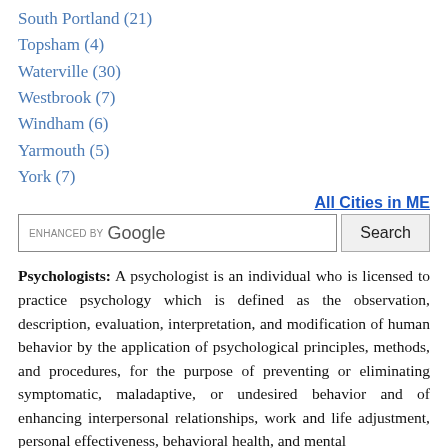South Portland (21)
Topsham (4)
Waterville (30)
Westbrook (7)
Windham (6)
Yarmouth (5)
York (7)
All Cities in ME
Psychologists: A psychologist is an individual who is licensed to practice psychology which is defined as the observation, description, evaluation, interpretation, and modification of human behavior by the application of psychological principles, methods, and procedures, for the purpose of preventing or eliminating symptomatic, maladaptive, or undesired behavior and of enhancing interpersonal relationships, work and life adjustment, personal effectiveness, behavioral health, and mental health. The practice of psychology includes, but is not limited to,